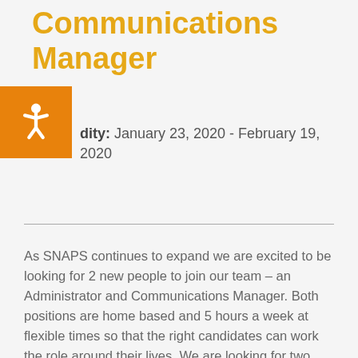Communications Manager
Validity: January 23, 2020 - February 19, 2020
As SNAPS continues to expand we are excited to be looking for 2 new people to join our team – an Administrator and Communications Manager.  Both positions are home based and 5 hours a week at flexible times so that the right candidates can work the role around their lives.  We are looking for two enthusiastic, organised and committed individuals to make the charity more efficient and increase our brand awareness and in return, SNAPS offers a flexible, supportive and fun